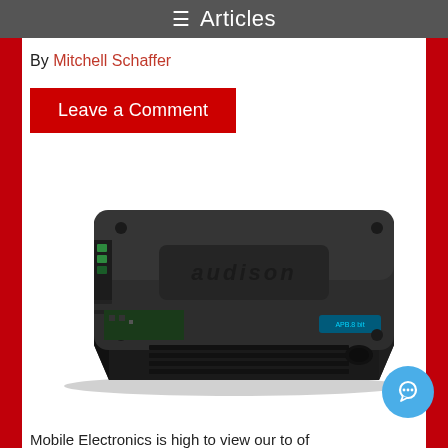≡  Articles
By Mitchell Schaffer
Leave a Comment
[Figure (photo): Audison car amplifier (APB.8 bit or similar model), black aluminum chassis with fins, viewed from above at an angle showing connectors on the left side and branding on top lid]
Mobile Electronics is high to view our to of...